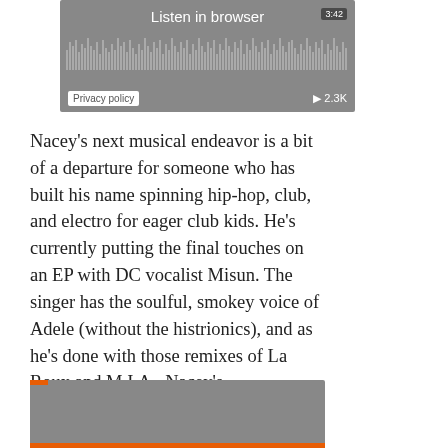[Figure (screenshot): Audio player widget with waveform, 'Listen in browser' button, Privacy policy label, play count 2.3K, duration badge]
Nacey's next musical endeavor is a bit of a departure for someone who has built his name spinning hip-hop, club, and electro for eager club kids. He's currently putting the final touches on an EP with DC vocalist Misun. The singer has the soulful, smokey voice of Adele (without the histrionics), and as he's done with those remixes of La Roux and M.I.A., Nacey's instrumentals key in on a song's essence and never let it go. The recently released “July” is a bouncy summer jam, updating funky disco hallmarks without falling into pastiche.
[Figure (screenshot): Audio player widget bottom portion with orange accent bars]